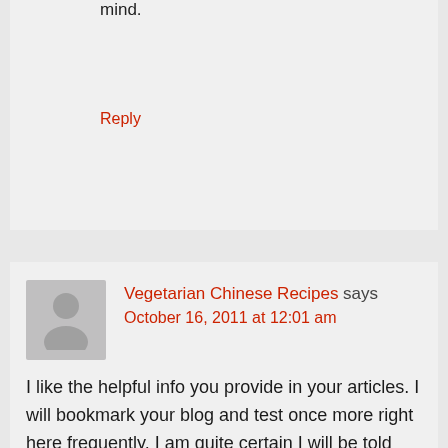mind.
Reply
Vegetarian Chinese Recipes says
October 16, 2011 at 12:01 am
I like the helpful info you provide in your articles. I will bookmark your blog and test once more right here frequently. I am quite certain I will be told many new stuff proper right here! Best of luck for the next!
Reply